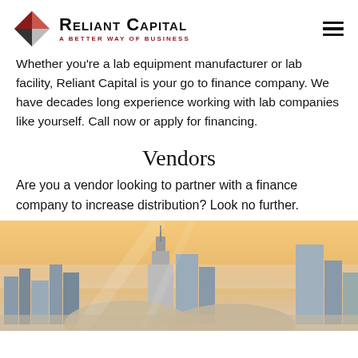Reliant Capital — A Better Way of Business
Whether you're a lab equipment manufacturer or lab facility, Reliant Capital is your go to finance company.  We have decades long experience working with lab companies like yourself.  Call now or apply for financing.
Vendors
Are you a vendor looking to partner with a finance company to increase distribution?  Look no further.
[Figure (photo): City skyline with skyscrapers (Empire State Building area) in the background with two hands shaking in the foreground, representing business partnership.]